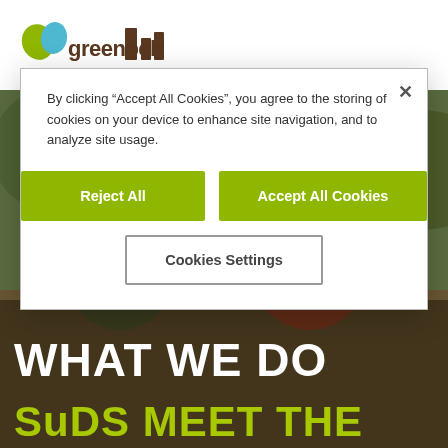greenbelt
[Figure (screenshot): Cookie consent dialog overlay on a greenbelt website. Dialog contains text about cookie policy, two green buttons labelled 'Reject All' and 'Accept All Cookies', and an outlined button labelled 'Cookies Settings'. An X close button is in the top right of the dialog.]
By clicking “Accept All Cookies”, you agree to the storing of cookies on your device to enhance site navigation, and to analyze site usage.
[Figure (photo): Outdoor photo of two people bent over working on the ground, one in a green top and one in a red jacket with glasses, surrounded by vegetation.]
WHAT WE DO
SuDS MEET THE